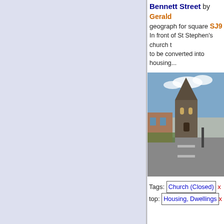[Figure (photo): Street view photo showing St Stephen's church on Bennett Street]
Bennett Street by Gerald geograph for square SJ9 In front of St Stephen's church to be converted into housing... Tags: Church (Closed) x top: Housing, Dwellings x top: Religious Sites x top: Roads, Road Transport Sales Office x
[Figure (photo): Road photo showing Church Road, Swainsthorpe looking towards A140]
Church Road, Swainsthorpe Geographer geograph for square TG2 Looking towards the A140 Ipswich Road at the junction with Church Close No.C179 Tags: A140 x C Road (Cla Church Close Church Ro Ipswich Road x subject: Ro Road Junction x top: Roads, Road Transport at: Swainsthorpe x looking